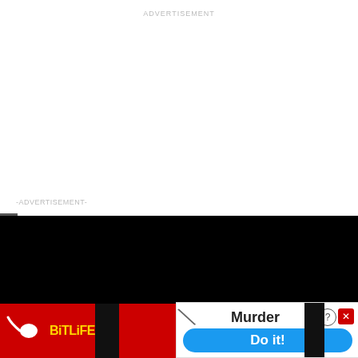ADVERTISEMENT
-ADVERTISEMENT-
[Figure (screenshot): Video player bar with black background showing title 'How To Open 7 Chakras - Meditation and Healing - SunSigns.Org' with a white circle icon and small gold dot]
Angels are using angel number 138 to reveal that it is time to forge peace and happiness and use and
[Figure (screenshot): BitLife advertisement banner with red background, yellow sperm logo, yellow BiTLiFE text]
[Figure (screenshot): Murder game ad with slash graphic, 'Murder' text, question mark and X close icons, and blue 'Do it!' button]